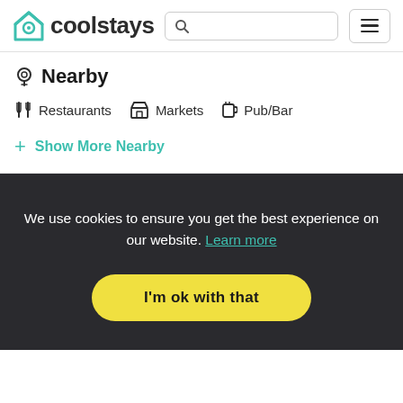coolstays
Nearby
Restaurants   Markets   Pub/Bar
+ Show More Nearby
We use cookies to ensure you get the best experience on our website. Learn more
I'm ok with that